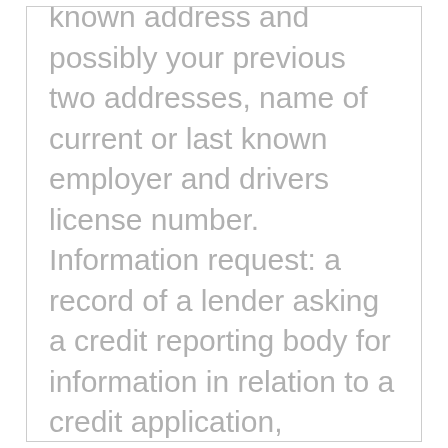known address and possibly your previous two addresses, name of current or last known employer and drivers license number. Information request: a record of a lender asking a credit reporting body for information in relation to a credit application, including the type and amount of credit applied for. Serious credit infringement: a record of when a lender believes that there has been a fraud relating to your or your company's consumer credit or that you have avoided paying your consumer credit payments and the credit provider can't find you. Publicly available information: a record relating to your activities in Australia and your credit worthiness. We base some things on th